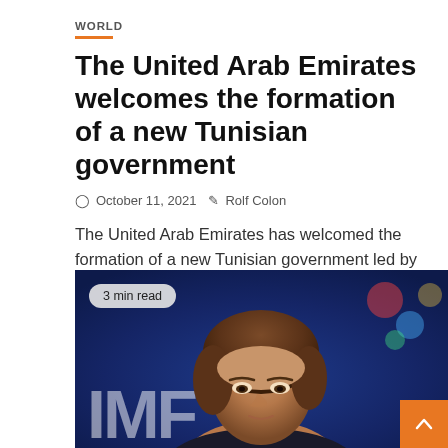WORLD
The United Arab Emirates welcomes the formation of a new Tunisian government
October 11, 2021   Rolf Colon
The United Arab Emirates has welcomed the formation of a new Tunisian government led by Najla Botan to promote stability...
[Figure (photo): Close-up photograph of a woman with short brown hair against a dark blue background with partial 'IMF' lettering visible. A '3 min read' badge overlays the top-left of the image. An orange scroll-to-top button is in the bottom-right corner.]